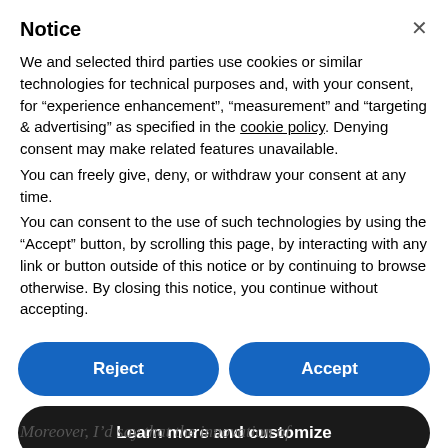Notice
We and selected third parties use cookies or similar technologies for technical purposes and, with your consent, for “experience enhancement”, “measurement” and “targeting & advertising” as specified in the cookie policy. Denying consent may make related features unavailable.
You can freely give, deny, or withdraw your consent at any time.
You can consent to the use of such technologies by using the “Accept” button, by scrolling this page, by interacting with any link or button outside of this notice or by continuing to browse otherwise. By closing this notice, you continue without accepting.
Reject
Accept
Learn more and customize
Moreover, I’d say that the innovation of